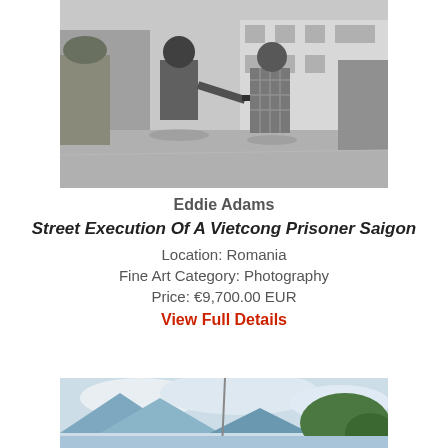[Figure (photo): Black and white photograph of a street execution scene in Saigon — a man pointing a gun at another man's head on a street]
Eddie Adams
Street Execution Of A Vietcong Prisoner Saigon
Location: Romania
Fine Art Category: Photography
Price: €9,700.00 EUR
View Full Details
[Figure (photo): Partial view of a landscape painting with mountains and trees in blue and green tones]